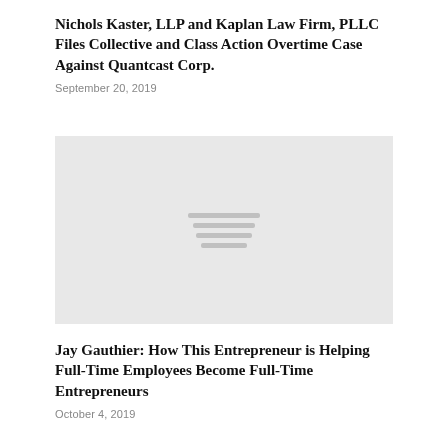Nichols Kaster, LLP and Kaplan Law Firm, PLLC Files Collective and Class Action Overtime Case Against Quantcast Corp.
September 20, 2019
[Figure (illustration): Gray placeholder image with four horizontal lines in the center, representing a loading or missing image graphic.]
Jay Gauthier: How This Entrepreneur is Helping Full-Time Employees Become Full-Time Entrepreneurs
October 4, 2019